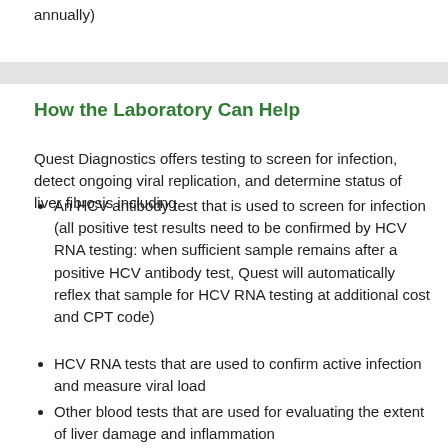annually)
How the Laboratory Can Help
Quest Diagnostics offers testing to screen for infection, detect ongoing viral replication, and determine status of liver fibrosis including
An HCV antibody test that is used to screen for infection (all positive test results need to be confirmed by HCV RNA testing: when sufficient sample remains after a positive HCV antibody test, Quest will automatically reflex that sample for HCV RNA testing at additional cost and CPT code)
HCV RNA tests that are used to confirm active infection and measure viral load
Other blood tests that are used for evaluating the extent of liver damage and inflammation
To guide therapy, Quest also offers
HCV genotyping to determine if drug-resistant variants are present